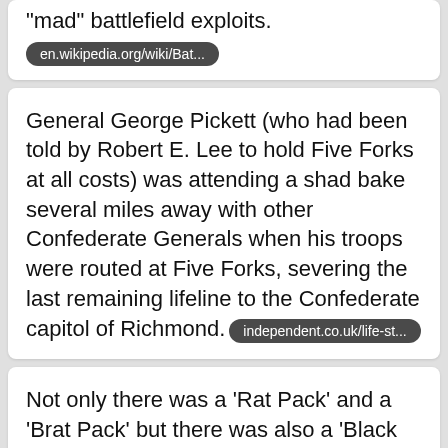"mad" battlefield exploits.
en.wikipedia.org/wiki/Bat...
General George Pickett (who had been told by Robert E. Lee to hold Five Forks at all costs) was attending a shad bake several miles away with other Confederate Generals when his troops were routed at Five Forks, severing the last remaining lifeline to the Confederate capitol of Richmond.
independent.co.uk/life-st...
Not only there was a 'Rat Pack' and a 'Brat Pack' but there was also a 'Black Pack' that was founded by Eddie Murphy and Arsenio Hall and featured Robert Townsend, Arsenio Hall, Paul Mooney and Keenen Ivory Wayans. The only white member was